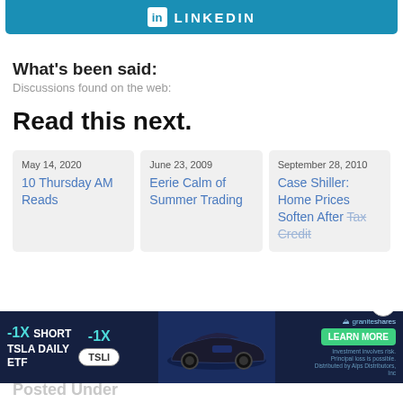[Figure (logo): LinkedIn social share button bar in teal/blue color]
What's been said:
Discussions found on the web:
Read this next.
May 14, 2020
10 Thursday AM Reads
June 23, 2009
Eerie Calm of Summer Trading
September 28, 2010
Case Shiller: Home Prices Soften After Tax Credit
[Figure (infographic): -1X SHORT TSLA DAILY ETF advertisement banner with TSLI ticker badge, Tesla car image, and Learn More button from GraniteShares]
Posted Under